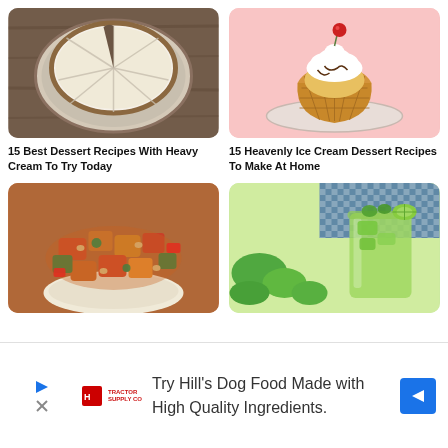[Figure (photo): A cheesecake sliced into pieces on a wooden surface]
15 Best Dessert Recipes With Heavy Cream To Try Today
[Figure (photo): Ice cream sundae in a waffle bowl with whipped cream and cherry on pink background]
15 Heavenly Ice Cream Dessert Recipes To Make At Home
[Figure (photo): Sweet and sour chicken stir fry with vegetables and peanuts over rice]
[Figure (photo): Green cucumber smoothie drink with herbs and cucumber slices]
Try Hill's Dog Food Made with High Quality Ingredients.